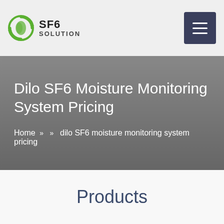SF6 SOLUTION
Dilo SF6 Moisture Monitoring System Pricing
Home » » dilo SF6 moisture monitoring system pricing
Products